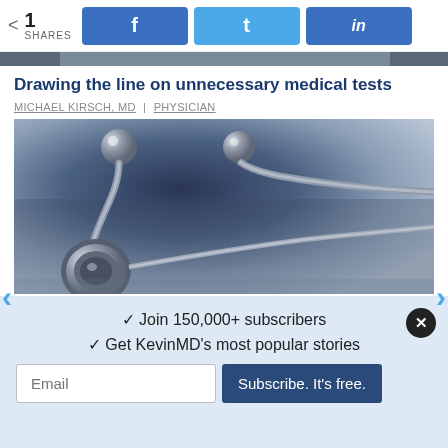1 SHARES [Facebook share button] [Twitter share button] [LinkedIn share button]
[Figure (photo): Partial top of a previous article image (cropped, dark)]
Drawing the line on unnecessary medical tests
MICHAEL KIRSCH, MD | PHYSICIAN
[Figure (photo): Close-up photograph of a stethoscope on a dark blue-grey surface, showing the earpieces and chest piece in metallic silver tones]
Join 150,000+ subscribers
Get KevinMD's most popular stories
Email [Subscribe. It's free.]